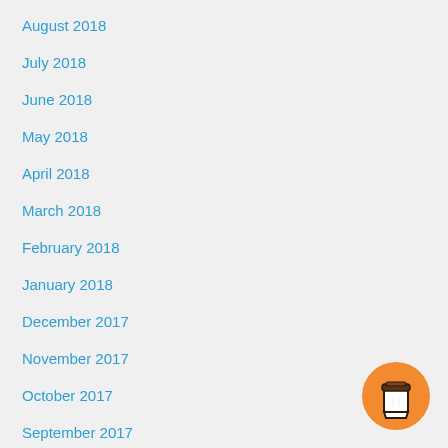August 2018
July 2018
June 2018
May 2018
April 2018
March 2018
February 2018
January 2018
December 2017
November 2017
October 2017
September 2017
August 2017
July 2017
[Figure (illustration): Orange circular button with a coffee cup icon (take-away cup with lid), positioned in the bottom-right corner of the page.]